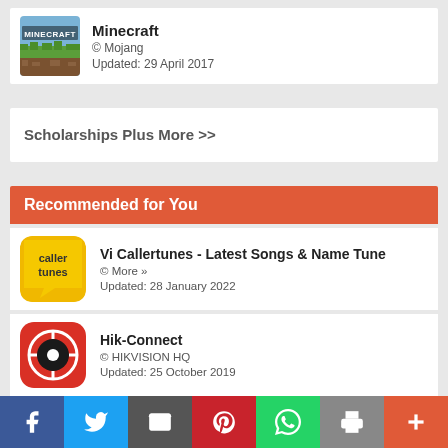[Figure (screenshot): Minecraft app icon - grassy block texture with MINECRAFT text]
Minecraft
© Mojang
Updated: 29 April 2017
Scholarships Plus More >>
Recommended for You
[Figure (screenshot): Vi Callertunes app icon - yellow speech bubble with 'caller tunes' text]
Vi Callertunes - Latest Songs & Name Tune
© More »
Updated: 28 January 2022
[Figure (screenshot): Hik-Connect app icon - red rounded square with camera/eye symbol]
Hik-Connect
© HIKVISION HQ
Updated: 25 October 2019
Live Football TV
f  Twitter  Email  Pinterest  WhatsApp  Print  +